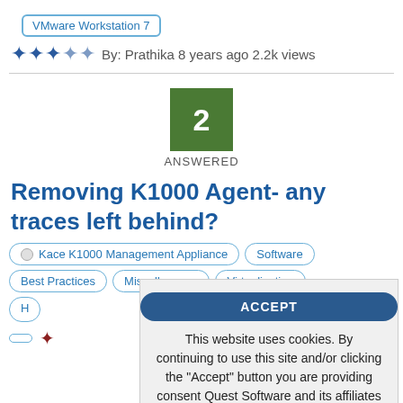VMware Workstation 7
★★★★★ By: Prathika 8 years ago 2.2k views
2 ANSWERED
Removing K1000 Agent- any traces left behind?
Kace K1000 Management Appliance
Software
Best Practices
Miscellaneous
Virtualization
ACCEPT
This website uses cookies. By continuing to use this site and/or clicking the "Accept" button you are providing consent Quest Software and its affiliates do NOT sell the Personal Data you provide to us either when you register on our websites or